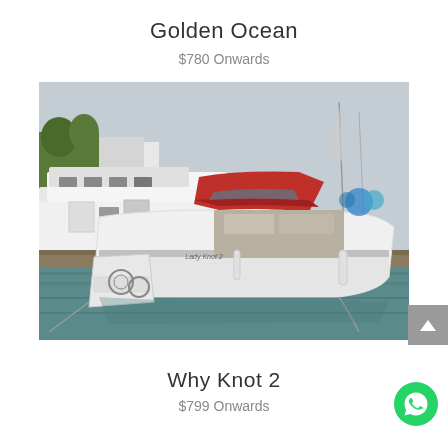Golden Ocean
$780 Onwards
[Figure (photo): White motorboat with red canopy top docked at a marina, with a larger white yacht behind it and sailboats in the background. The boat has an open stern platform and is reflected in calm blue-green water.]
Why Knot 2
$799 Onwards